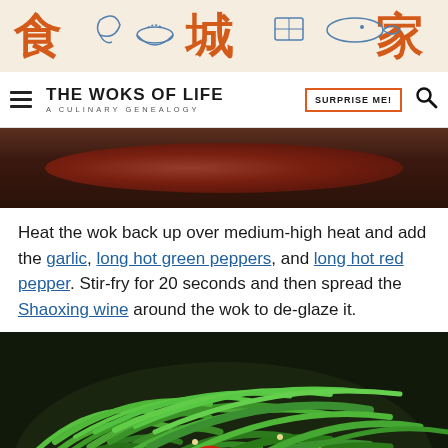[Figure (illustration): Website header banner with Chinese characters (食 城 家) in red/orange and blue food illustrations on a cream background]
THE WOKS OF LIFE | A CULINARY GENEALOGY | SURPRISE ME!
[Figure (photo): Close-up photo of meat cooking in a dark wok, showing raw or partially cooked minced/ground meat]
Heat the wok back up over medium-high heat and add the garlic, long hot green peppers, and long hot red pepper. Stir-fry for 20 seconds and then spread the Shaoxing wine around the wok to de-glaze it.
[Figure (photo): Photo of long hot green peppers and red pepper pieces stir-fried in a dark wok, vibrant green color with some red pepper pieces visible]